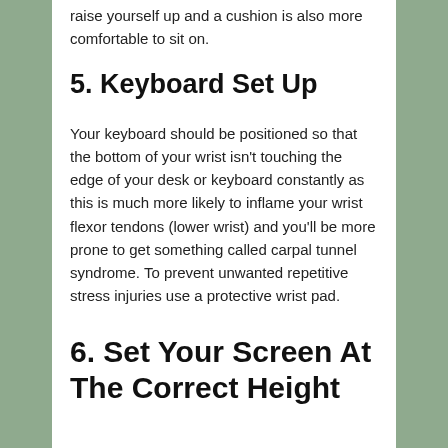raise yourself up and a cushion is also more comfortable to sit on.
5. Keyboard Set Up
Your keyboard should be positioned so that the bottom of your wrist isn't touching the edge of your desk or keyboard constantly as this is much more likely to inflame your wrist flexor tendons (lower wrist) and you'll be more prone to get something called carpal tunnel syndrome. To prevent unwanted repetitive stress injuries use a protective wrist pad.
6. Set Your Screen At The Correct Height